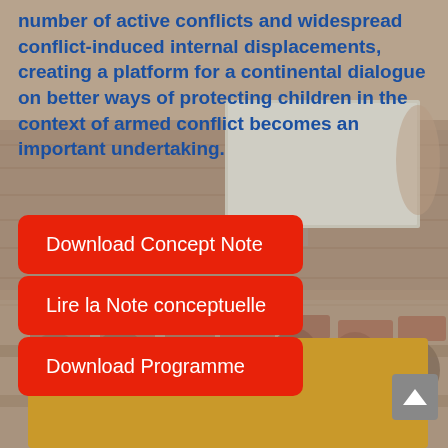number of active conflicts and widespread conflict-induced internal displacements, creating a platform for a continental dialogue on better ways of protecting children in the context of armed conflict becomes an important undertaking.
Download Concept Note
Lire la Note conceptuelle
Download Programme
[Figure (photo): Conference hall with attendees seated, a projection screen visible at the front, and people in the audience viewed from behind.]